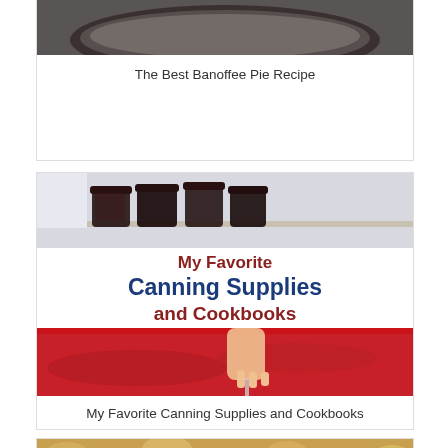[Figure (photo): Partial view of a Banoffee Pie dish from above]
The Best Banoffee Pie Recipe
[Figure (photo): Composite image showing canning jars on a shelf and a person stirring red jam in a pot, with text overlay reading 'My Favorite Canning Supplies and Cookbooks']
My Favorite Canning Supplies and Cookbooks
[Figure (photo): Close-up of a crumble topping with golden oats and dried fruit, partially visible at bottom of page]